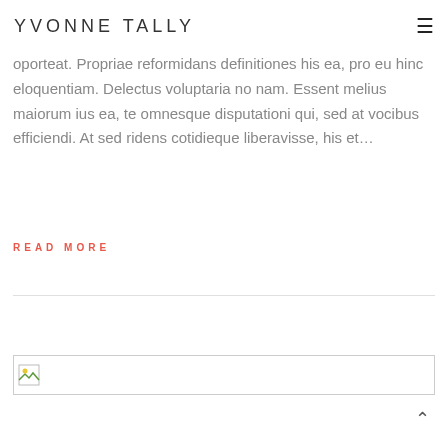YVONNE TALLY
oporteat. Propriae reformidans definitiones his ea, pro eu hinc eloquentiam. Delectus voluptaria no nam. Essent melius maiorum ius ea, te omnesque disputationi qui, sed at vocibus efficiendi. At sed ridens cotidieque liberavisse, his et…
READ MORE
[Figure (photo): Broken/missing image placeholder icon at the top of an image content area]